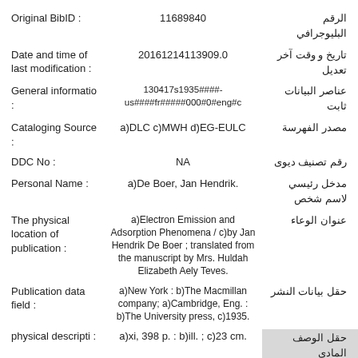| Field (EN) | Value | Field (AR) |
| --- | --- | --- |
| Original BibID : | 11689840 | الرقم البليوجرافي |
| Date and time of last modification : | 201612141139​09.0 | تاريخ و وقت آخر تعديل |
| General informatio : | 130417s1935####-us####fr#####000#0#eng#c | عناصر البيانات ثابت |
| Cataloging Source : | a)DLC c)MWH d)EG-EULC | مصدر الفهرسة |
| DDC No : | NA | رقم تصنيف ديوى |
| Personal Name : | a)De Boer, Jan Hendrik. | مدخل رئيسي لاسم شخص |
| The physical location of publication : | a)Electron Emission and Adsorption Phenomena / c)by Jan Hendrik De Boer ; translated from the manuscript by Mrs. Huldah Elizabeth Aely Teves. | عنوان الوعاء |
| Publication data field : | a)New York : b)The Macmillan company; a)Cambridge, Eng. : b)The University press, c)1935. | حقل بيانات النشر |
| physical descripti : | a)xi, 398 p. : b)ill. ; c)23 cm. | حقل الوصف المادى |